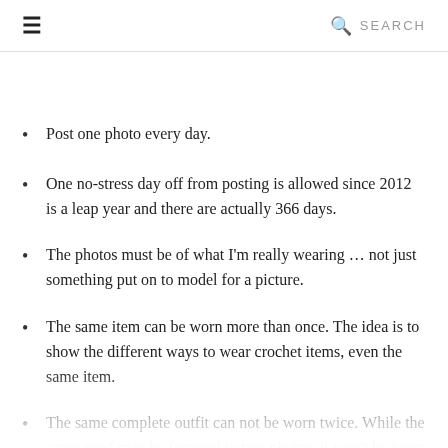≡   🔍 SEARCH
Post one photo every day.
One no-stress day off from posting is allowed since 2012 is a leap year and there are actually 366 days.
The photos must be of what I'm really wearing … not just something put on to model for a picture.
The same item can be worn more than once. The idea is to show the different ways to wear crochet items, even the same item.
The same complete outfit can not be worn twice. While the same scarf may be featured in two photos, it won't be worn with the same outfit in the same way. There will be at least a...